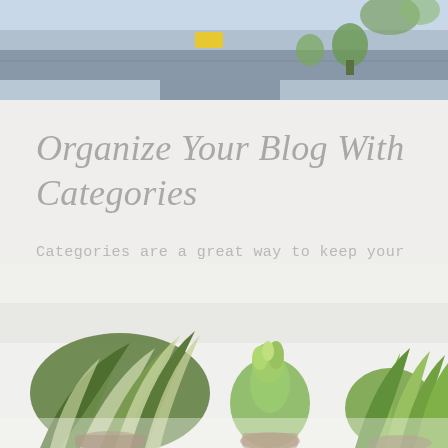[Figure (photo): Aerial or overhead view of a street/outdoor scene with blue tones, visible plants and architectural elements]
Organize Your Blog With Categories
Categories are a great way to keep your posts organized. They also help visitors explore more content that interests the...
[Figure (photo): Close-up photo of green potted plants including a spider plant and succulents on a white surface]